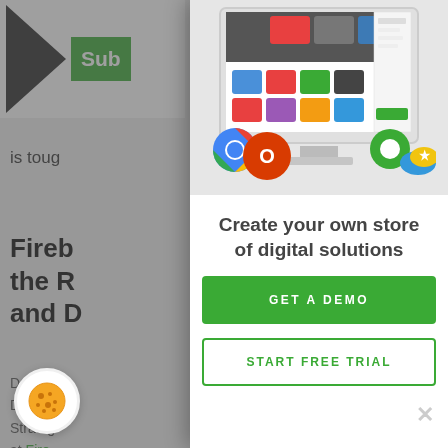[Figure (screenshot): Partial background page showing a logo with triangle shape and 'Sub' text in green, partially obscured by modal overlay]
is toug
Fireb
the R
and D
Daniel
Digital
Strateg
at Fire
Digital
[Figure (screenshot): Modal overlay showing a digital solutions store screenshot on a monitor mockup with app icons, with headline 'Create your own store of digital solutions', a green GET A DEMO button, and a START FREE TRIAL outline button]
Create your own store of digital solutions
GET A DEMO
START FREE TRIAL